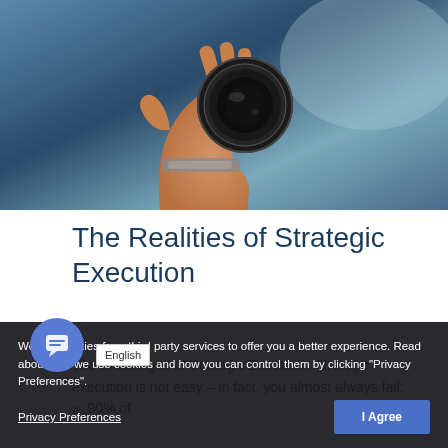[Figure (photo): A hand holding a camera lens against a blurred blue background, viewed from behind.]
The Realities of Strategic Execution
The Challenges of Strategic Execution Strategic execution is not easy – in fact, you almost always fail: »  90% of corporate strategies are never implemented. »  70% of complex initiatives are challenged or impaired One of the leading difficulties executives...
We use cookies from third party services to offer you a better experience. Read about how we use cookies and how you can control them by clicking "Privacy Preferences".
Privacy Preferences
English
I Agree